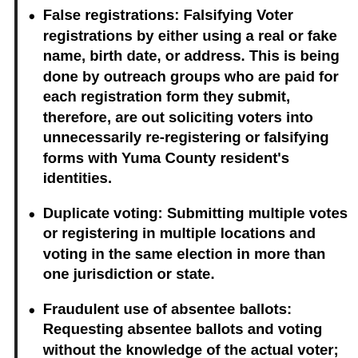False registrations: Falsifying Voter registrations by either using a real or fake name, birth date, or address. This is being done by outreach groups who are paid for each registration form they submit, therefore, are out soliciting voters into unnecessarily re-registering or falsifying forms with Yuma County resident's identities.
Duplicate voting: Submitting multiple votes or registering in multiple locations and voting in the same election in more than one jurisdiction or state.
Fraudulent use of absentee ballots: Requesting absentee ballots and voting without the knowledge of the actual voter; or obtaining the absentee ballot